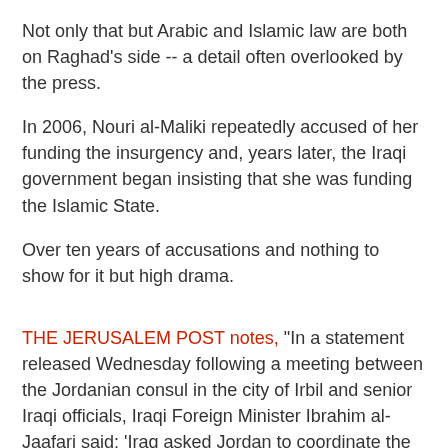Not only that but Arabic and Islamic law are both on Raghad's side -- a detail often overlooked by the press.
In 2006, Nouri al-Maliki repeatedly accused of her funding the insurgency and, years later, the Iraqi government began insisting that she was funding the Islamic State.
Over ten years of accusations and nothing to show for it but high drama.
THE JERUSALEM POST notes, "In a statement released Wednesday following a meeting between the Jordanian consul in the city of Irbil and senior Iraqi officials, Iraqi Foreign Minister Ibrahim al-Jaafari said: 'Iraq asked Jordan to coordinate the extradition of people residing in its territory who are wanted by the Iraqi judicial system'."